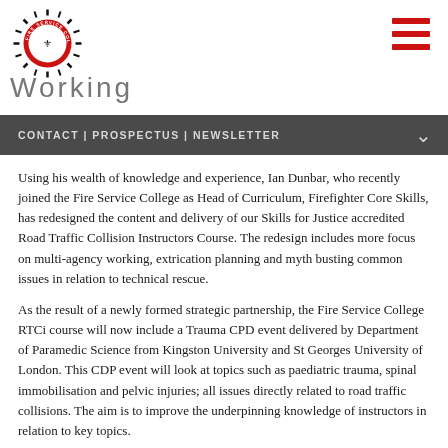[Figure (logo): Fire Service College circular badge logo with red ring, laurel wreath and sunburst rays in black and white]
Working
CONTACT | PROSPECTUS | NEWSLETTER
Using his wealth of knowledge and experience, Ian Dunbar, who recently joined the Fire Service College as Head of Curriculum, Firefighter Core Skills, has redesigned the content and delivery of our Skills for Justice accredited Road Traffic Collision Instructors Course. The redesign includes more focus on multi-agency working, extrication planning and myth busting common issues in relation to technical rescue.
As the result of a newly formed strategic partnership, the Fire Service College RTCi course will now include a Trauma CPD event delivered by Department of Paramedic Science from Kingston University and St Georges University of London. This CDP event will look at topics such as paediatric trauma, spinal immobilisation and pelvic injuries; all issues directly related to road traffic collisions. The aim is to improve the underpinning knowledge of instructors in relation to key topics.